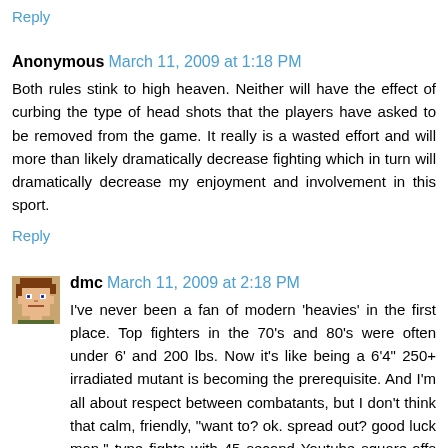Reply
Anonymous March 11, 2009 at 1:18 PM
Both rules stink to high heaven. Neither will have the effect of curbing the type of head shots that the players have asked to be removed from the game. It really is a wasted effort and will more than likely dramatically decrease fighting which in turn will dramatically decrease my enjoyment and involvement in this sport.
Reply
dmc March 11, 2009 at 2:18 PM
I've never been a fan of modern 'heavies' in the first place. Top fighters in the 70's and 80's were often under 6' and 200 lbs. Now it's like being a 6'4" 250+ irradiated mutant is becoming the prerequisite. And I'm all about respect between combatants, but I don't think that calm, friendly, "want to? ok. spread out? good luck man." type fights with 45 second Youtube square-offs has much of an uplifting